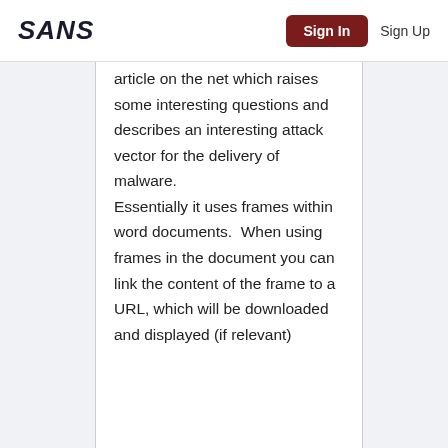SANS  Sign In  Sign Up
article on the net which raises some interesting questions and describes an interesting attack vector for the delivery of malware. Essentially it uses frames within word documents.  When using frames in the document you can link the content of the frame to a URL, which will be downloaded and displayed (if relevant)